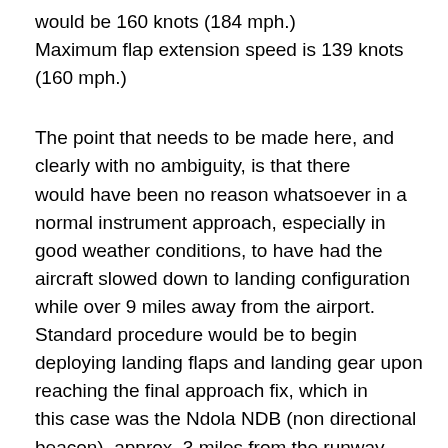would be 160 knots (184 mph.)
Maximum flap extension speed is 139 knots (160 mph.)
The point that needs to be made here, and clearly with no ambiguity, is that there would have been no reason whatsoever in a normal instrument approach, especially in good weather conditions, to have had the aircraft slowed down to landing configuration while over 9 miles away from the airport. Standard procedure would be to begin deploying landing flaps and landing gear upon reaching the final approach fix, which in this case was the Ndola NDB (non directional beacon), approx. 3 miles from the runway,